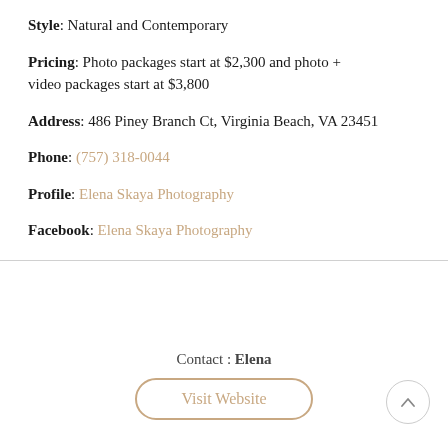Style: Natural and Contemporary
Pricing: Photo packages start at $2,300 and photo + video packages start at $3,800
Address: 486 Piney Branch Ct, Virginia Beach, VA 23451
Phone: (757) 318-0044
Profile: Elena Skaya Photography
Facebook: Elena Skaya Photography
Contact : Elena
Visit Website